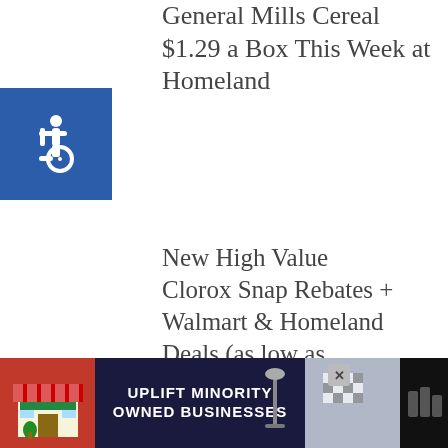General Mills Cereal $1.29 a Box This Week at Homeland
[Figure (logo): Blue square with wheelchair accessibility icon (white)]
New High Value Clorox Snap Rebates + Walmart & Homeland Deals (as low as FREE!)
[Figure (infographic): Share widget: count 0 with share icon]
[Figure (infographic): What's Next arrow widget: thumbnail image with text 'WHAT'S NEXT -> DIY Solar Mason Jars']
[Figure (photo): Food photo showing tomatoes, peppers and colorful produce in bowls]
[Figure (infographic): Advertisement banner: UPLIFT MINORITY OWNED BUSINESSES on dark blue background with storefront icon]